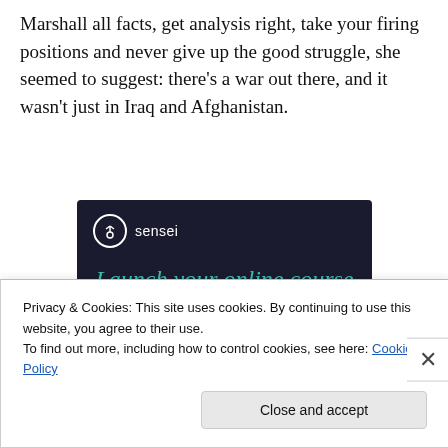Marshall all facts, get analysis right, take your firing positions and never give up the good struggle, she seemed to suggest: there’s a war out there, and it wasn’t just in Iraq and Afghanistan.
[Figure (illustration): Sensei advertisement banner with dark navy background. Logo: white circle with tree icon and 'sensei' text. Headline in teal italic: 'Launch your online course with WordPress'. Teal rounded button: 'Learn More'.]
Privacy & Cookies: This site uses cookies. By continuing to use this website, you agree to their use.
To find out more, including how to control cookies, see here: Cookie Policy